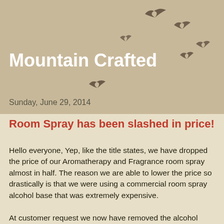[Figure (illustration): Flying birds silhouettes scattered across the tan/beige header area]
Mountain Crafted
Sunday, June 29, 2014
Room Spray has been slashed in price!
Hello everyone, Yep, like the title states, we have dropped the price of our Aromatherapy and Fragrance room spray almost in half. The reason we are able to lower the price so drastically is that we were using a commercial room spray alcohol base that was extremely expensive.
At customer request we now have removed the alcohol room spray from our site and converted back to Debra's proprietary water based formula which was what we had when we first opened the store.
I'm to blame for the switch from Debra's formula to the high priced commercial alcohol base. Well, I'll chalk that one up